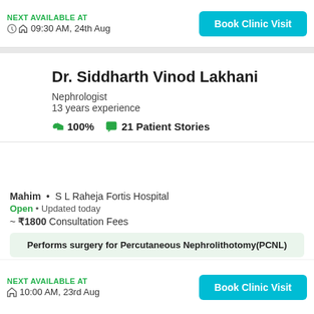NEXT AVAILABLE AT
09:30 AM, 24th Aug
Dr. Siddharth Vinod Lakhani
Nephrologist
13 years experience
100%  21 Patient Stories
Mahim • S L Raheja Fortis Hospital
Open • Updated today
~ ₹1800 Consultation Fees
Performs surgery for Percutaneous Nephrolithotomy(PCNL)
NEXT AVAILABLE AT
10:00 AM, 23rd Aug